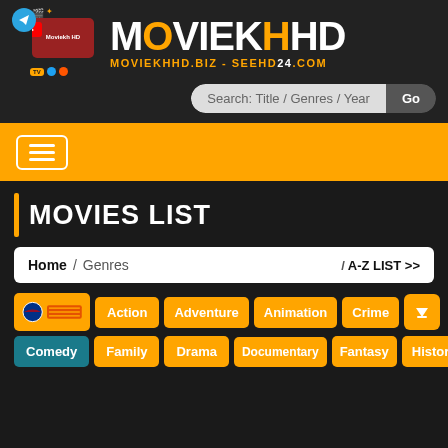[Figure (logo): MoviekhHD website logo with social media icons (Telegram, YouTube), a branded thumbnail image, and site URLs moviekhhd.biz - seehd24.com]
Search: Title / Genres / Year
[Figure (other): Hamburger menu button (three horizontal lines) on an orange navigation bar]
MOVIES LIST
Home / Genres / A-Z LIST >>
Action
Adventure
Animation
Crime
Comedy
Family
Drama
Documentary
Fantasy
History